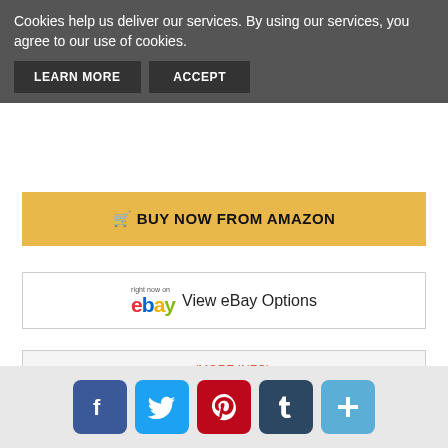Cookies help us deliver our services. By using our services, you agree to our use of cookies.
LEARN MORE   ACCEPT
🛒 BUY NOW FROM AMAZON
right now on eBay  View eBay Options
PRODUCT INFORMATION (more info)
☰ View Product Details
[Figure (infographic): Social share buttons: Facebook (blue), Twitter (light blue), Pinterest (red), Tumblr (dark blue/grey), plus/share (light blue)]